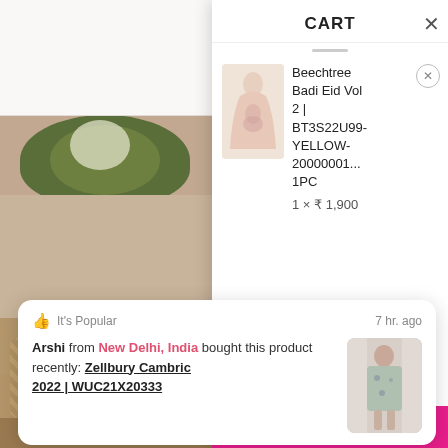[Figure (screenshot): E-commerce website background showing 'THE FASHION STATION' logo with hamburger menu, search bar, and a product/lifestyle image in the background]
CART
Beechtree Badi Eid Vol 2 | BT3S22U99-YELLOW-20000001... 1PC
1 × ₹ 1,900
It's Popular
7 hr. ago
Arshi from New Delhi, India bought this product recently: Zellbury Cambric 2022 | WUC21X20333